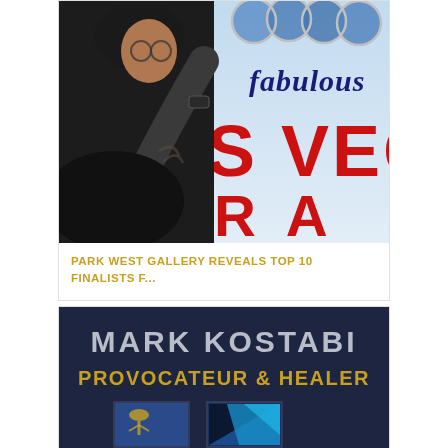[Figure (photo): A person with tattoos working on a large Las Vegas 'Welcome to Fabulous Las Vegas' sign painting, reaching up to touch circular elements on the sign. The sign shows red letters 'S VEGA' and cursive 'fabulous' text against blue sky background.]
PARK WEST GALLERY REVEALS TOP 10 FINALISTS F...
[Figure (photo): Dark blue background display showing 'MARK KOSTABI' in large grey letters and 'PROVOCATEUR & HEALER' in gold/yellow letters below. Bottom shows partial view of artwork pieces.]